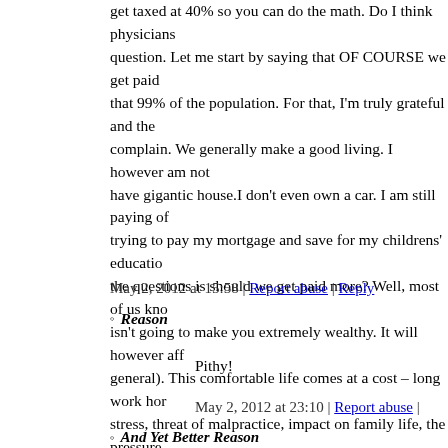get taxed at 40% so you can do the math. Do I think physicians question. Let me start by saying that OF COURSE we get paid that 99% of the population. For that, I'm truly grateful and the complain. We generally make a good living. I however am not have gigantic house.I don't even own a car. I am still paying of trying to pay my mortgage and save for my childrens' education the questions is should we get paid more? Well, most of us kno isn't going to make you extremely wealthy. It will however aff general). This comfortable life comes at a cost – long work ho stress, threat of malpractice, impact on family life, the pressure better/preventing death etc etc. I am certainly not whining abo sign up for. Do I think we should get paid more? On bad days, ending, when things go horribly wrong with patients, when pa there's just no more to give – yes, I wish I got paid more. Whe about it at all. If you want tons of money, medicine is not the many other jobs out there. To me, it is the best mix of having combination with some financial reward. Is it enough? It could complaining....
May 2, 2012 at 15:58 | Report abuse | Reply
Reason
Pithy!
May 2, 2012 at 23:10 | Report abuse |
And Yet Better Reason